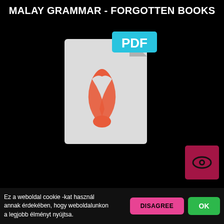MALAY GRAMMAR - FORGOTTEN BOOKS
[Figure (screenshot): PDF file icon with red Adobe Acrobat logo on light gray document background, with cyan PDF badge in top right corner]
[Figure (other): Dark pink/red eye icon button in bottom right of top card]
in central S akai makes the w ord substantival ji s daylzgkt ... m én gép it ca r ry under the ar m ... to an age nt o r pa tiens e xpresse d or im.
COURSE IN GENERAL LINGUISTICS - FORGO...
[Figure (screenshot): Partial PDF file icon with cyan PDF badge]
Ez a weboldal cookie -kat használ annak érdekében, hogy weboldalunkon a legjobb élményt nyújtsa.